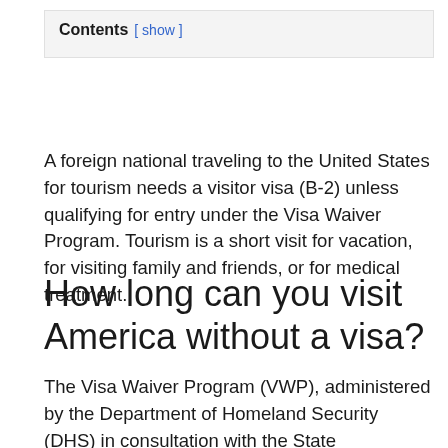Contents [ show ]
A foreign national traveling to the United States for tourism needs a visitor visa (B-2) unless qualifying for entry under the Visa Waiver Program. Tourism is a short visit for vacation, for visiting family and friends, or for medical treatment.
How long can you visit America without a visa?
The Visa Waiver Program (VWP), administered by the Department of Homeland Security (DHS) in consultation with the State Department, permits citizens